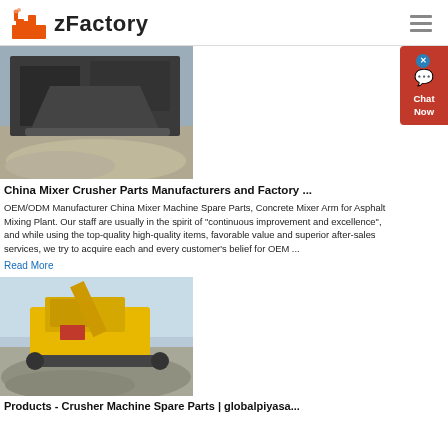zFactory
[Figure (photo): Industrial crusher/mixing plant machinery on a gravel site, dark metallic equipment]
China Mixer Crusher Parts Manufacturers and Factory ...
OEM/ODM Manufacturer China Mixer Machine Spare Parts, Concrete Mixer Arm for Asphalt Mixing Plant. Our staff are usually in the spirit of “continuous improvement and excellence”, and while using the top-quality high-quality items, favorable value and superior after-sales services, we try to acquire each and every customer’s belief for OEM ...
Read More
[Figure (photo): Large yellow industrial crusher machine on a gravel/stone pile, outdoor site with blue sky]
Products - Crusher Machine Spare Parts | globalpiyasa...